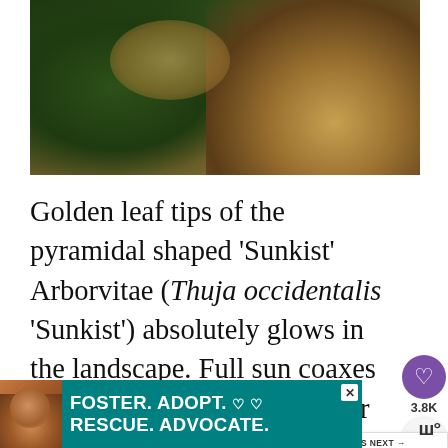[Figure (photo): Close-up photo of golden-tipped arborvitae foliage against dark soil background, showing pyramidal shaped Sunkist Arborvitae plant with green and golden leaf tips]
Golden leaf tips of the pyramidal shaped 'Sunkist' Arborvitae (Thuja occidentalis 'Sunkist') absolutely glows in the landscape. Full sun coaxes the best growth and leaf color from 'Sunkist'. Combine it with other evergreens to create a living tapest... year-round color. Or use it as a cheery local point in a mixed border.
[Figure (infographic): UI overlay with heart/save button showing purple circle with heart icon, 3.8K count label, and share button]
[Figure (infographic): What's Next widget showing thumbnail and text reading 'The most perfect...']
[Figure (infographic): Advertisement banner with teal background showing dog image and text: FOSTER. ADOPT. RESCUE. ADVOCATE. with heart icons and close button]